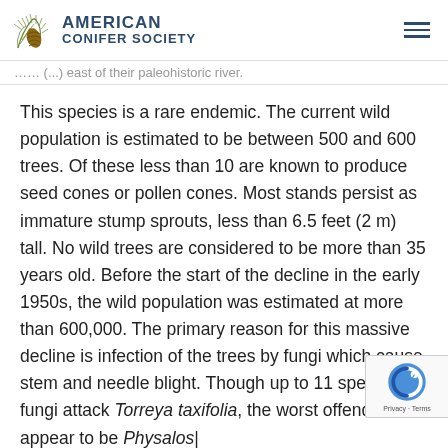AMERICAN CONIFER SOCIETY
miles (...) east of their paleohistoric river.
This species is a rare endemic. The current wild population is estimated to be between 500 and 600 trees. Of these less than 10 are known to produce seed cones or pollen cones. Most stands persist as immature stump sprouts, less than 6.5 feet (2 m) tall. No wild trees are considered to be more than 35 years old. Before the start of the decline in the early 1950s, the wild population was estimated at more than 600,000. The primary reason for this massive decline is infection of the trees by fungi which cause stem and needle blight. Though up to 11 species of fungi attack Torreya taxifolia, the worst offenders appear to be Physalos|pora spp. and Macrophoma spp. Investigators have not precisely determined how fungal agents act to cause the